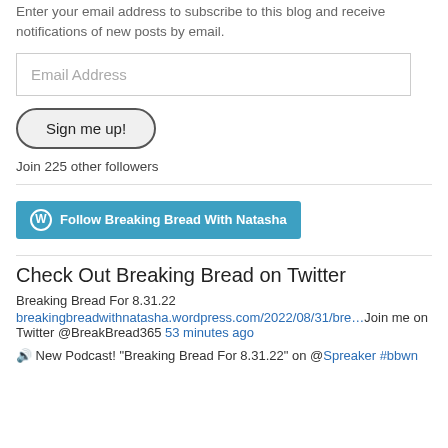Enter your email address to subscribe to this blog and receive notifications of new posts by email.
Email Address
Sign me up!
Join 225 other followers
Follow Breaking Bread With Natasha
Check Out Breaking Bread on Twitter
Breaking Bread For 8.31.22
breakingbreadwithnatasha.wordpress.com/2022/08/31/bre…Join me on Twitter @BreakBread365 53 minutes ago
🔊 New Podcast! "Breaking Bread For 8.31.22" on @Spreaker #bbwn